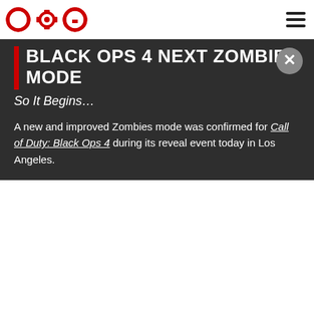COG logo and navigation header
BLACK OPS 4 NEXT ZOMBIES MODE
So It Begins…
A new and improved Zombies mode was confirmed for Call of Duty: Black Ops 4 during its reveal event today in Los Angeles.